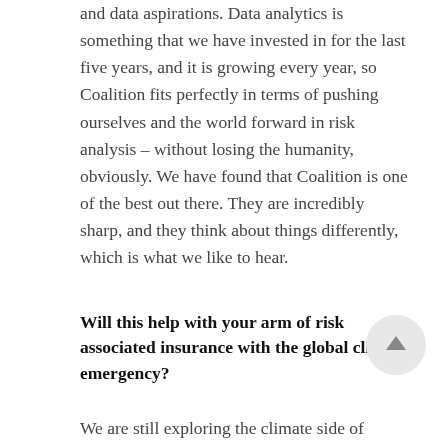and data aspirations. Data analytics is something that we have invested in for the last five years, and it is growing every year, so Coalition fits perfectly in terms of pushing ourselves and the world forward in risk analysis – without losing the humanity, obviously. We have found that Coalition is one of the best out there. They are incredibly sharp, and they think about things differently, which is what we like to hear.
Will this help with your arm of risk associated insurance with the global climate emergency?
We are still exploring the climate side of